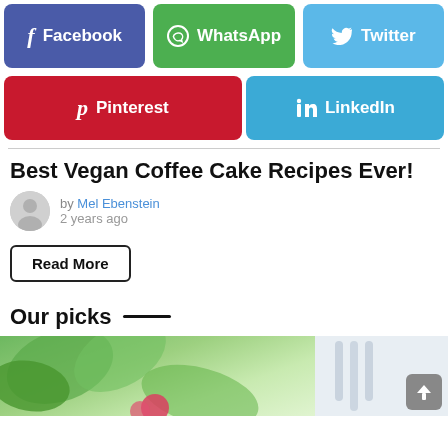[Figure (infographic): Social share buttons row 1: Facebook (purple), WhatsApp (green), Twitter (light blue)]
[Figure (infographic): Social share buttons row 2: Pinterest (red), LinkedIn (light blue)]
Best Vegan Coffee Cake Recipes Ever!
by Mel Ebenstein
2 years ago
Read More
Our picks
[Figure (photo): Bottom partial image showing green leaves on left and a light gray/white background on right, with a scroll-to-top button overlay]